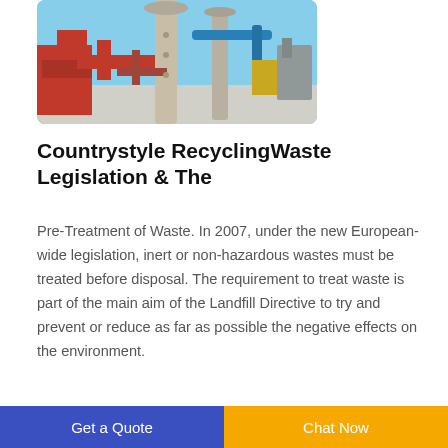[Figure (photo): Industrial recycling machinery with red and grey metal pipes and equipment against a blue sky background]
Countrystyle RecyclingWaste Legislation & The
Pre-Treatment of Waste. In 2007, under the new European-wide legislation, inert or non-hazardous wastes must be treated before disposal. The requirement to treat waste is part of the main aim of the Landfill Directive to try and prevent or reduce as far as possible the negative effects on the environment.
Get a Quote | Chat Now